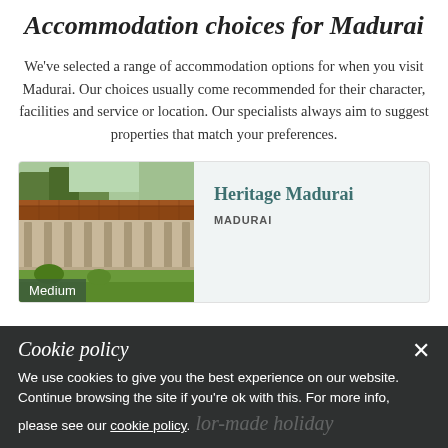Accommodation choices for Madurai
We've selected a range of accommodation options for when you visit Madurai. Our choices usually come recommended for their character, facilities and service or location. Our specialists always aim to suggest properties that match your preferences.
[Figure (photo): Photo of Heritage Madurai hotel exterior showing a long colonnaded building with terracotta roof tiles, pillars, and green lawn in the foreground.]
Heritage Madurai
MADURAI
Cookie policy
We use cookies to give you the best experience on our website. Continue browsing the site if you're ok with this. For more info, please see our cookie policy.